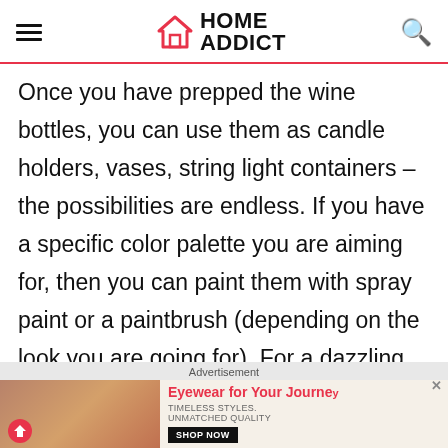HOME ADDICT
Once you have prepped the wine bottles, you can use them as candle holders, vases, string light containers – the possibilities are endless. If you have a specific color palette you are aiming for, then you can paint them with spray paint or a paintbrush (depending on the look you are going for). For a dazzling display, paint a few bottles white, then add
Advertisement
[Figure (photo): Advertisement banner showing two women wearing sunglasses with text 'Eyewear for Your Journey. Timeless Styles. Unmatched Quality. Shop Now']